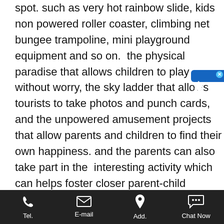spot. such as very hot rainbow slide, kids non powered roller coaster, climbing net bungee trampoline, mini playground equipment and so on.  the physical paradise that allows children to play without worry, the sky ladder that allows tourists to take photos and punch cards, and the unpowered amusement projects that allow parents and children to find their own happiness. and the parents can also take part in the  interesting activity which can helps foster closer parent-child relationships.
so there are so many amusement equipment for scenic spot, and we are professional park rides manufacturer, we can also provide excellent customized service according the size and character of your place  make the
Tel.  E-mail  Add.  Chat Now